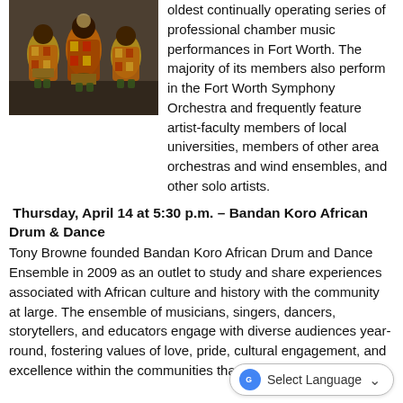[Figure (photo): Performers in traditional African costumes with drums on stage]
oldest continually operating series of professional chamber music performances in Fort Worth. The majority of its members also perform in the Fort Worth Symphony Orchestra and frequently feature artist-faculty members of local universities, members of other area orchestras and wind ensembles, and other solo artists.
Thursday, April 14 at 5:30 p.m. – Bandan Koro African Drum & Dance
Tony Browne founded Bandan Koro African Drum and Dance Ensemble in 2009 as an outlet to study and share experiences associated with African culture and history with the community at large. The ensemble of musicians, singers, dancers, storytellers, and educators engage with diverse audiences year-round, fostering values of love, pride, cultural engagement, and excellence within the communities that they visit.